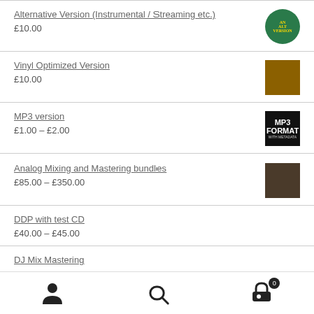Alternative Version (Instrumental / Streaming etc.) £10.00
Vinyl Optimized Version £10.00
MP3 version £1.00 – £2.00
Analog Mixing and Mastering bundles £85.00 – £350.00
DDP with test CD £40.00 – £45.00
DJ Mix Mastering